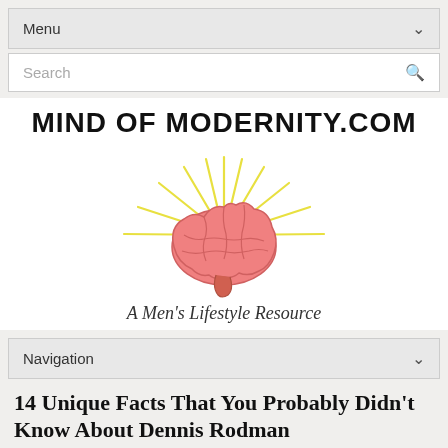Menu
Search
[Figure (logo): Mind of Modernity logo: text 'MIND OF MODERNITY.COM' above an illustrated pink brain with yellow rays emanating from it, and subtitle 'A Men's Lifestyle Resource']
Navigation
14 Unique Facts That You Probably Didn't Know About Dennis Rodman